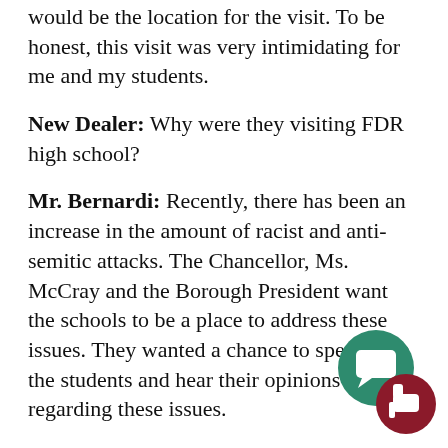would be the location for the visit. To be honest, this visit was very intimidating for me and my students.
New Dealer: Why were they visiting FDR high school?
Mr. Bernardi: Recently, there has been an increase in the amount of racist and anti-semitic attacks. The Chancellor, Ms. McCray and the Borough President want the schools to be a place to address these issues. They wanted a chance to speak with the students and hear their opinions regarding these issues.
New Dealer: How did you structure your lesson for their visit?
Mr. Bernardi: We were already learning about the Enlightenment in the classroom. The Enlightenment was a period where people began thinking about the relationships they had with the government and with one another. I decided to connect the issues that we were going to talk
[Figure (illustration): Two overlapping circular icon buttons in the bottom-right corner: a teal/green circle with a speech bubble chat icon, and a dark red/maroon circle with a thumbs-up icon.]